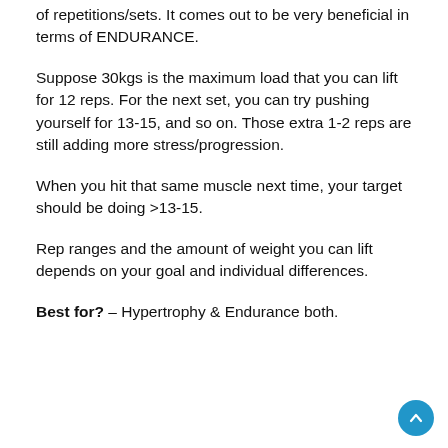of repetitions/sets. It comes out to be very beneficial in terms of ENDURANCE.
Suppose 30kgs is the maximum load that you can lift for 12 reps. For the next set, you can try pushing yourself for 13-15, and so on. Those extra 1-2 reps are still adding more stress/progression.
When you hit that same muscle next time, your target should be doing >13-15.
Rep ranges and the amount of weight you can lift depends on your goal and individual differences.
Best for? – Hypertrophy & Endurance both.